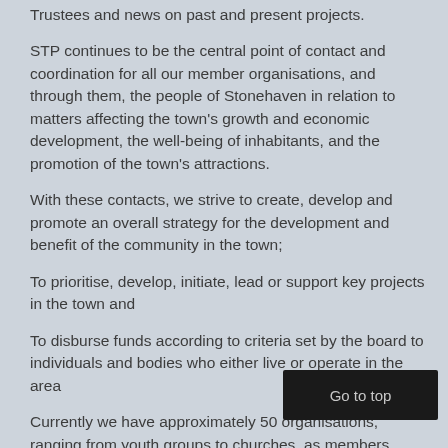Trustees and news on past and present projects.
STP continues to be the central point of contact and coordination for all our member organisations, and through them, the people of Stonehaven in relation to matters affecting the town's growth and economic development, the well-being of inhabitants, and the promotion of the town's attractions.
With these contacts, we strive to create, develop and promote an overall strategy for the development and benefit of the community in the town;
To prioritise, develop, initiate, lead or support key projects in the town and
To disburse funds according to criteria set by the board to individuals and bodies who either live or operate in the area
Currently we have approximately 50 organisations, ranging from youth groups to churches, as members  Each year these members elect up to 12 individuals to act as STP Trustees and these individuals take the lead in various projects which are deemed to be beneficial to Stonehaven.
In the last 24 months STP has b... in